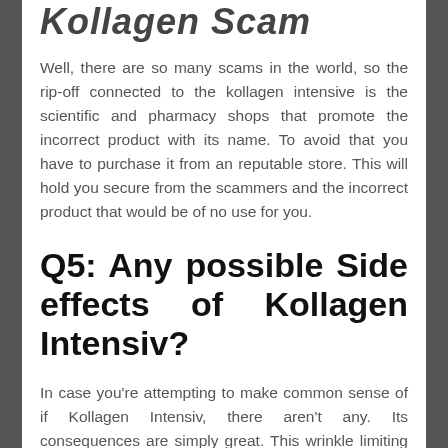Kollagen Intensiv Scam
Well, there are so many scams in the world, so the rip-off connected to the kollagen intensive is the scientific and pharmacy shops that promote the incorrect product with its name. To avoid that you have to purchase it from an reputable store. This will hold you secure from the scammers and the incorrect product that would be of no use for you.
Q5: Any possible Side effects of Kollagen Intensiv?
In case you're attempting to make common sense of if Kollagen Intensiv, there aren't any. Its consequences are simply great. This wrinkle limiting gel is highly healthy for dealing with these profound traces and